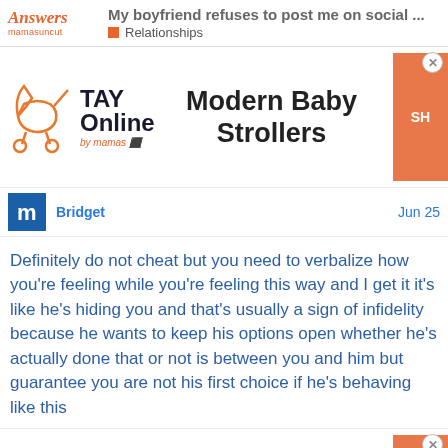My boyfriend refuses to post me on social ... | Relationships
[Figure (logo): TAY Online by mamas advertisement banner - Modern Baby Strollers with shop button]
Bridget
Jun 25
Definitely do not cheat but you need to verbalize how you're feeling while you're feeling this way and I get it it's like he's hiding you and that's usually a sign of infidelity because he wants to keep his options open whether he's actually done that or not is between you and him but guarantee you are not his first choice if he's behaving like this
[Figure (logo): TAY Online by mamas advertisement banner - Modern Baby Strollers with shop button (repeated)]